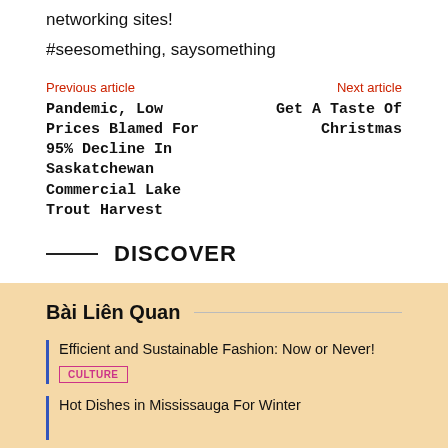networking sites!
#seesomething, saysomething
Previous article
Pandemic, Low Prices Blamed For 95% Decline In Saskatchewan Commercial Lake Trout Harvest
Next article
Get A Taste Of Christmas
DISCOVER
Bài Liên Quan
Efficient and Sustainable Fashion: Now or Never!
CULTURE
Hot Dishes in Mississauga For Winter